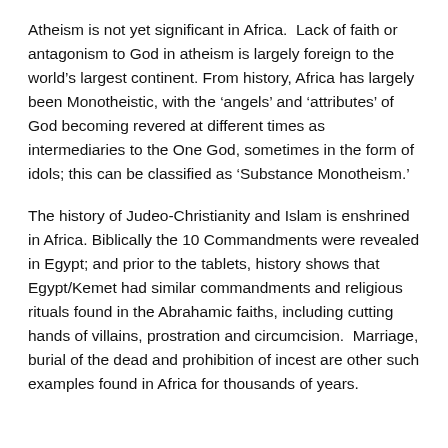Atheism is not yet significant in Africa.  Lack of faith or antagonism to God in atheism is largely foreign to the world's largest continent. From history, Africa has largely been Monotheistic, with the ‘angels’ and ‘attributes’ of God becoming revered at different times as intermediaries to the One God, sometimes in the form of idols; this can be classified as ‘Substance Monotheism.’
The history of Judeo-Christianity and Islam is enshrined in Africa. Biblically the 10 Commandments were revealed in Egypt; and prior to the tablets, history shows that Egypt/Kemet had similar commandments and religious rituals found in the Abrahamic faiths, including cutting hands of villains, prostration and circumcision.  Marriage, burial of the dead and prohibition of incest are other such examples found in Africa for thousands of years.